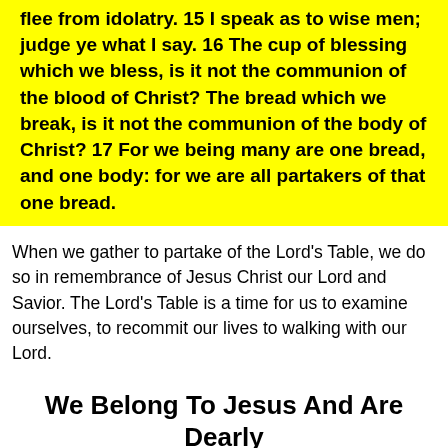flee from idolatry. 15 I speak as to wise men; judge ye what I say. 16 The cup of blessing which we bless, is it not the communion of the blood of Christ? The bread which we break, is it not the communion of the body of Christ? 17 For we being many are one bread, and one body: for we are all partakers of that one bread.
When we gather to partake of the Lord's Table, we do so in remembrance of Jesus Christ our Lord and Savior. The Lord's Table is a time for us to examine ourselves, to recommit our lives to walking with our Lord.
We Belong To Jesus And Are Dearly Beloved